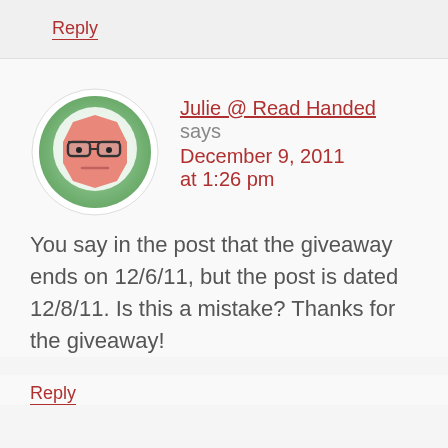Reply
[Figure (illustration): Avatar icon of an octagon-shaped cartoon face with glasses and a neutral expression, on a green circular background]
Julie @ Read Handed says December 9, 2011 at 1:26 pm
You say in the post that the giveaway ends on 12/6/11, but the post is dated 12/8/11. Is this a mistake? Thanks for the giveaway!
Reply